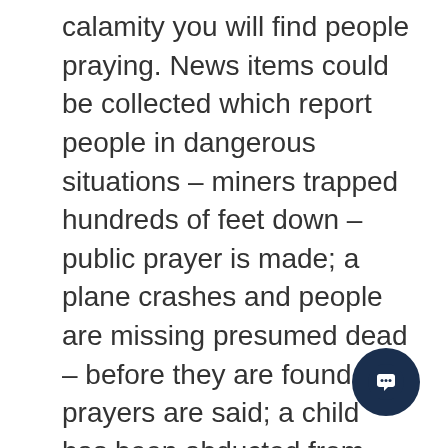calamity you will find people praying. News items could be collected which report people in dangerous situations – miners trapped hundreds of feet down – public prayer is made; a plane crashes and people are missing presumed dead – before they are found prayers are said; a child has been abducted from home and TV appeals go out from distraught parents – often prayer is mentioned. But people seem to have to have a crisis of some sort before they pray. Americans have one day per year set aside and endorsed by their government, to give thanks for their country, their wealth and their existence as a nation – it is called Thanksgiving Day. It is intended as a